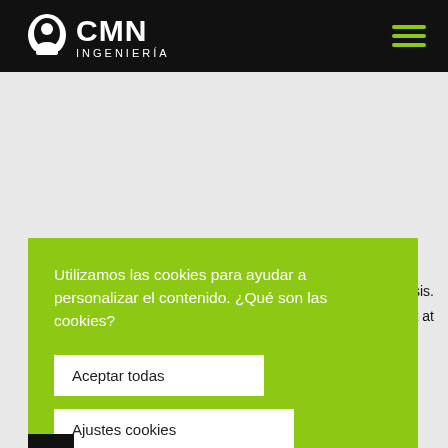[Figure (logo): CMN Ingeniería logo — white silhouette of a head with a circular element, bold white letters CMN, subtitle INGENIERÍA in white, on black background]
[Figure (other): Hamburger menu icon — three horizontal green lines on black background]
[Figure (screenshot): Grey background content area, partially visible text mentioning 'ct diagnosis.' and 'ire project at']
Utilizamos las cookies para ayudar a personalizar el contenido. ¿Qué son las cookies?
Aceptar todas
Ajustes cookies